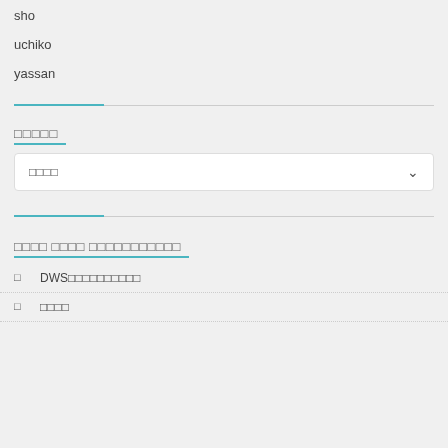sho
uchiko
yassan
□□□□□
□□□□ (dropdown)
□□□□ □□□□ □□□□□□□□□□□
□  DWS□□□□□□□□□□
□  □□□□